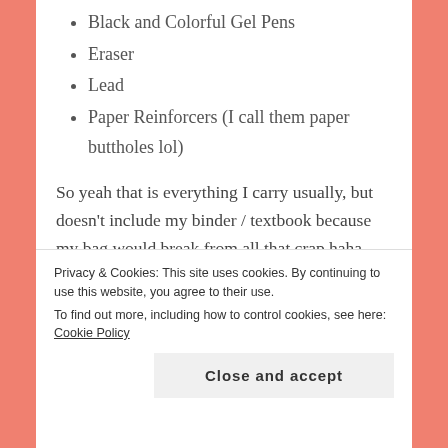Black and Colorful Gel Pens
Eraser
Lead
Paper Reinforcers (I call them paper buttholes lol)
So yeah that is everything I carry usually, but doesn't include my binder / textbook because my bag would break from all that crap haha. Sidenote, I am so grateful for E Textbooks it makes my life so much easier. Another sidenote my Business Law class seems
Privacy & Cookies: This site uses cookies. By continuing to use this website, you agree to their use.
To find out more, including how to control cookies, see here: Cookie Policy
Close and accept